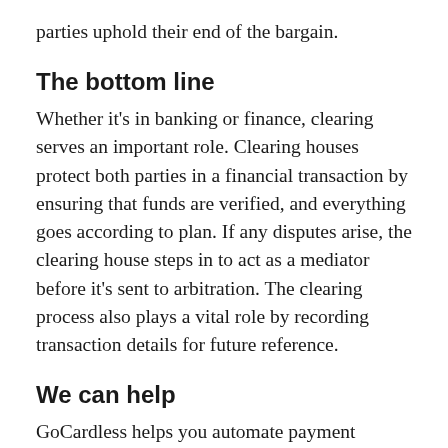parties uphold their end of the bargain.
The bottom line
Whether it's in banking or finance, clearing serves an important role. Clearing houses protect both parties in a financial transaction by ensuring that funds are verified, and everything goes according to plan. If any disputes arise, the clearing house steps in to act as a mediator before it's sent to arbitration. The clearing process also plays a vital role by recording transaction details for future reference.
We can help
GoCardless helps you automate payment collection, cutting down on the amount of admin your team